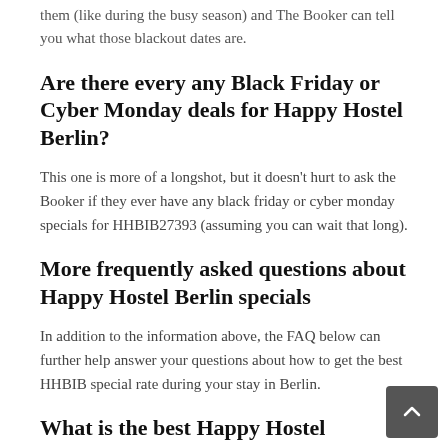them (like during the busy season) and The Booker can tell you what those blackout dates are.
Are there every any Black Friday or Cyber Monday deals for Happy Hostel Berlin?
This one is more of a longshot, but it doesn't hurt to ask the Booker if they ever have any black friday or cyber monday specials for HHBIB27393 (assuming you can wait that long).
More frequently asked questions about Happy Hostel Berlin specials
In addition to the information above, the FAQ below can further help answer your questions about how to get the best HHBIB special rate during your stay in Berlin.
What is the best Happy Hostel